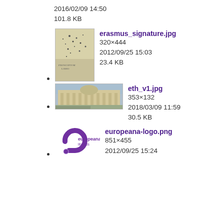2016/02/09 14:50
101.8 KB
[Figure (photo): Thumbnail of erasmus_signature.jpg - old handwritten document with 'PRINCIPIVM LIBRI' text]
erasmus_signature.jpg
320×444
2012/09/25 15:03
23.4 KB
[Figure (photo): Thumbnail of eth_v1.jpg - building facade photo]
eth_v1.jpg
353×132
2018/03/09 11:59
30.5 KB
[Figure (logo): Europeana libraries logo - purple G-shaped icon with text 'europeana libraries']
europeana-logo.png
851×455
2012/09/25 15:24